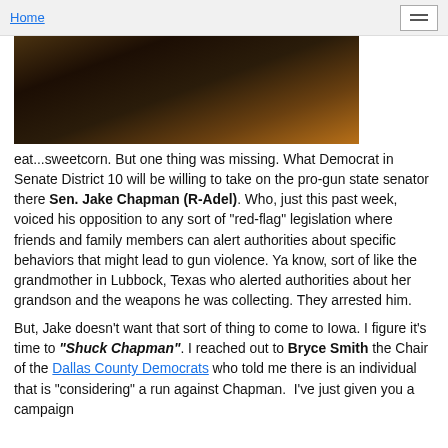Home
[Figure (photo): Dark photo showing what appears to be outdoor/rustic scene with wood and dark background]
eat...sweetcorn. But one thing was missing. What Democrat in Senate District 10 will be willing to take on the pro-gun state senator there Sen. Jake Chapman (R-Adel). Who, just this past week, voiced his opposition to any sort of "red-flag" legislation where friends and family members can alert authorities about specific behaviors that might lead to gun violence. Ya know, sort of like the grandmother in Lubbock, Texas who alerted authorities about her grandson and the weapons he was collecting. They arrested him.
But, Jake doesn't want that sort of thing to come to Iowa. I figure it's time to "Shuck Chapman". I reached out to Bryce Smith the Chair of the Dallas County Democrats who told me there is an individual that is "considering" a run against Chapman. I've just given you a campaign